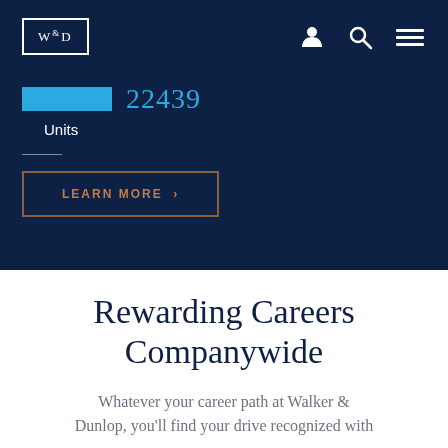W&D
22439
Units
LEARN MORE >
Rewarding Careers Companywide
Whatever your career path at Walker & Dunlop, you'll find your drive recognized with